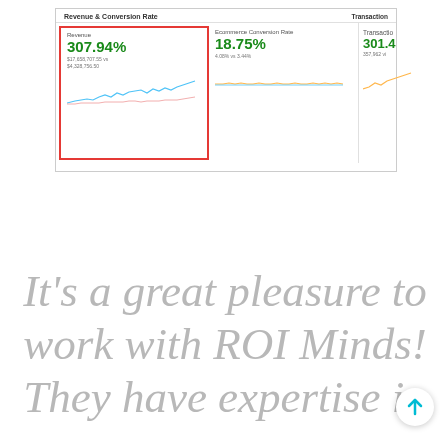[Figure (screenshot): Google Analytics screenshot showing Revenue & Conversion Rate metrics. Revenue: 307.94%, $17,658,707.55 vs $4,328,756.50. Ecommerce Conversion Rate: 18.75%, 4.08% vs 3.44%. Transaction section partially visible with 301.4 and 357,962. Revenue block is highlighted with a red border. Small sparkline charts shown below each metric.]
It's a great pleasure to work with ROI Minds! They have expertise in